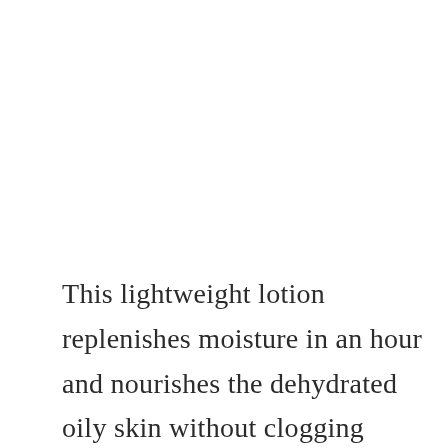This lightweight lotion replenishes moisture in an hour and nourishes the dehydrated oily skin without clogging pores.